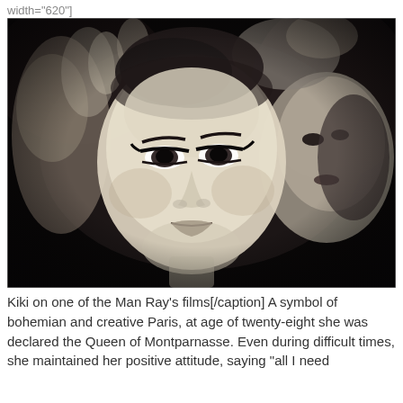width="620"]
[Figure (photo): Black and white photograph showing two women's faces close together. The face in the foreground is a woman with dramatic dark eye makeup and short dark hair, looking directly at the camera. A second woman's face is partially visible to the right, also with dark features. The image has a moody, artistic quality typical of early 20th century photography.]
Kiki on one of the Man Ray's films[/caption] A symbol of bohemian and creative Paris, at age of twenty-eight she was declared the Queen of Montparnasse. Even during difficult times, she maintained her positive attitude, saying "all I need